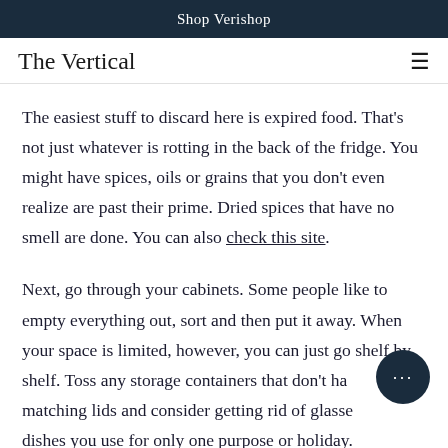Shop Verishop
The Vertical
The easiest stuff to discard here is expired food. That's not just whatever is rotting in the back of the fridge. You might have spices, oils or grains that you don't even realize are past their prime. Dried spices that have no smell are done. You can also check this site.
Next, go through your cabinets. Some people like to empty everything out, sort and then put it away. When your space is limited, however, you can just go shelf by shelf. Toss any storage containers that don't have matching lids and consider getting rid of glasses or dishes you use for only one purpose or holiday.